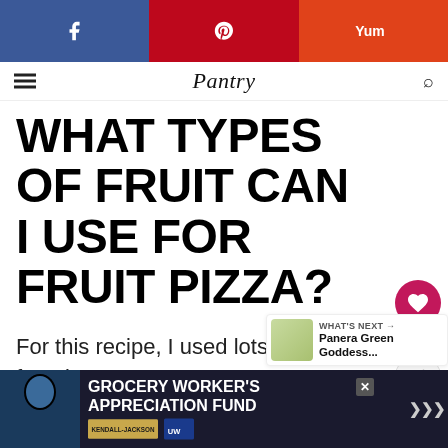f  p  Yum
Pantry
WHAT TYPES OF FRUIT CAN I USE FOR FRUIT PIZZA?
For this recipe, I used lots of my favorites:
[Figure (infographic): Heart/like button showing 190 likes and a share button]
[Figure (infographic): What's Next panel showing Panera Green Goddess... with thumbnail]
[Figure (infographic): Advertisement banner: GROCERY WORKER'S APPRECIATION FUND with Kendall-Jackson and United Way logos and a person photo]